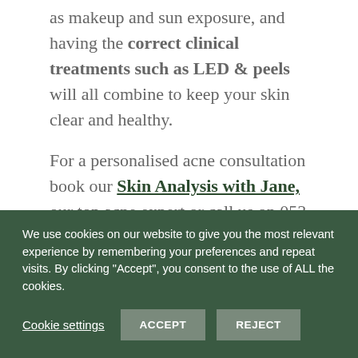as makeup and sun exposure, and having the correct clinical treatments such as LED & peels will all combine to keep your skin clear and healthy.
For a personalised acne consultation book our Skin Analysis with Jane, our top acne expert or call us on 053 9145981 to discuss your needs. Of course, you can call in to our Wexford Town skin clinic any Tuesday-Saturday to see how we can help you.
[Figure (other): Partial circular logo or decorative element visible at the bottom of the white content area]
We use cookies on our website to give you the most relevant experience by remembering your preferences and repeat visits. By clicking "Accept", you consent to the use of ALL the cookies.
Cookie settings | ACCEPT | REJECT